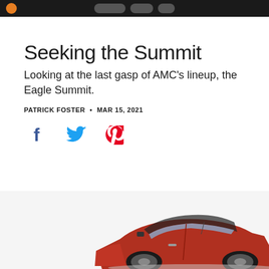Navigation bar
Seeking the Summit
Looking at the last gasp of AMC's lineup, the Eagle Summit.
PATRICK FOSTER • MAR 15, 2021
[Figure (infographic): Social share icons: Facebook (blue), Twitter (blue), Pinterest (red)]
[Figure (photo): Partial view of a red Eagle Summit car, cropped at the bottom of the page]